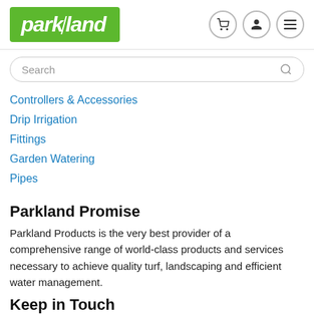[Figure (logo): Parkland logo on green background with italic white bold text]
Search
Controllers & Accessories
Drip Irrigation
Fittings
Garden Watering
Pipes
Parkland Promise
Parkland Products is the very best provider of a comprehensive range of world-class products and services necessary to achieve quality turf, landscaping and efficient water management.
Keep in Touch